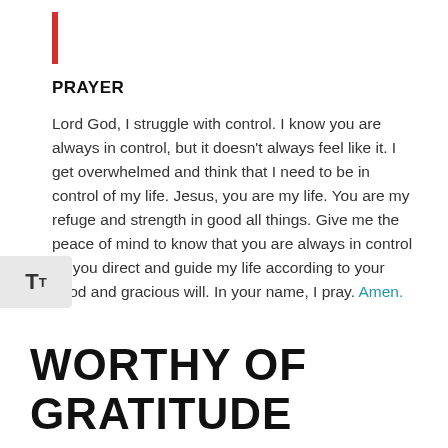PRAYER
Lord God, I struggle with control. I know you are always in control, but it doesn’t always feel like it. I get overwhelmed and think that I need to be in control of my life. Jesus, you are my life. You are my refuge and strength in good all things. Give me the peace of mind to know that you are always in control as you direct and guide my life according to your good and gracious will. In your name, I pray. Amen.
WORTHY OF GRATITUDE